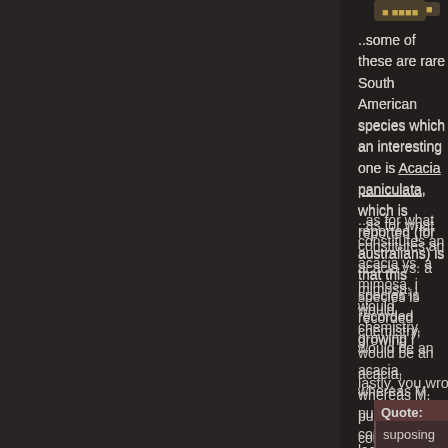..some of these are rare South American species which an interesting one is Acacia paniculata, which is reported (for australians) is that this species is recorded growing i
..as for what constitutes an acacia vs. a mimosa, i would chemistry, would be an acacia, whereas M. pudica (Sens confusing, botanists with nothing better to do have re-cla recorded from the americas according to world wide wat
lastly, you wrote:
Quote: suposing you don't have analytical methods (TLC, GC smoking it ?
..well, this is a tricky area to give advice on, but that is wh date there have been no adverse reactions from one-off must always say an unknown is a risk, and most people ..TLC and re-agents are not really any more difficult than
.
so, with acacias of South America being such a rich area photo 2 being bipinnate) which could be in Coumbia.. ..the 'type' specimens for Acacia ampeloclada, and Acac